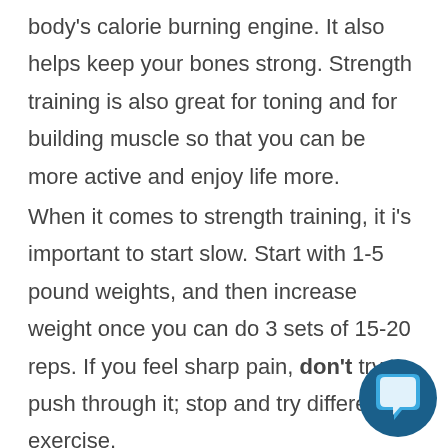body's calorie burning engine. It also helps keep your bones strong. Strength training is also great for toning and for building muscle so that you can be more active and enjoy life more.
When it comes to strength training, it i's important to start slow. Start with 1-5 pound weights, and then increase weight once you can do 3 sets of 15-20 reps. If you feel sharp pain, don't try to push through it; stop and try different exercise.
[Figure (illustration): Blue circular chat/message icon in the bottom right corner]